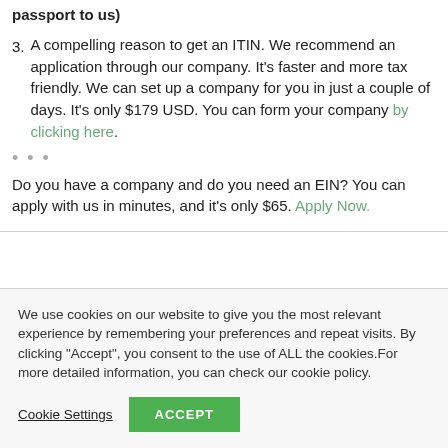passport to us)
3. A compelling reason to get an ITIN. We recommend an application through our company. It's faster and more tax friendly. We can set up a company for you in just a couple of days. It's only $179 USD. You can form your company by clicking here.
...
Do you have a company and do you need an EIN? You can apply with us in minutes, and it's only $65. Apply Now.
We use cookies on our website to give you the most relevant experience by remembering your preferences and repeat visits. By clicking "Accept", you consent to the use of ALL the cookies.For more detailed information, you can check our cookie policy.
Cookie Settings
ACCEPT